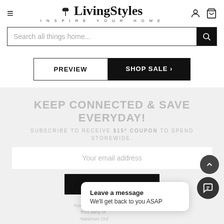[Figure (logo): LivingStyles logo with leaf icon and tagline INSPIRE YOUR HOME]
[Figure (screenshot): Search bar with text 'Search all things home...' and black search button]
[Figure (screenshot): PREVIEW button (outlined) and SHOP SALE button (black)]
KEEP CONNECTED & SAVE EVERYDAY!
SUBSCRIBE TO RECEIVE $15* COUPON TO SPEND STOREWIDE.
[Figure (screenshot): Email input field with placeholder 'Your email address']
[Figure (screenshot): SUBSCRIBE button in black]
Your personal data is ... and third party or ... *Minimum Ord...
[Figure (screenshot): Chat popup overlay with text 'Leave a message' and 'We'll get back to you ASAP']